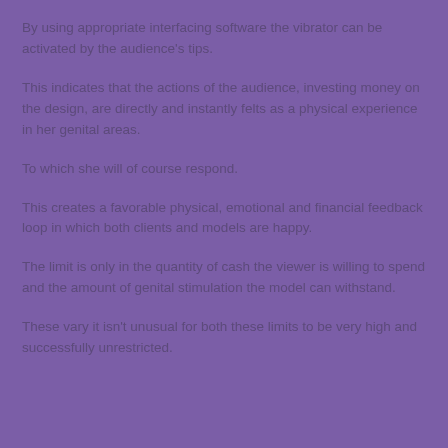By using appropriate interfacing software the vibrator can be activated by the audience’s tips.
This indicates that the actions of the audience, investing money on the design, are directly and instantly felts as a physical experience in her genital areas.
To which she will of course respond.
This creates a favorable physical, emotional and financial feedback loop in which both clients and models are happy.
The limit is only in the quantity of cash the viewer is willing to spend and the amount of genital stimulation the model can withstand.
These vary it isn’t unusual for both these limits to be very high and successfully unrestricted.